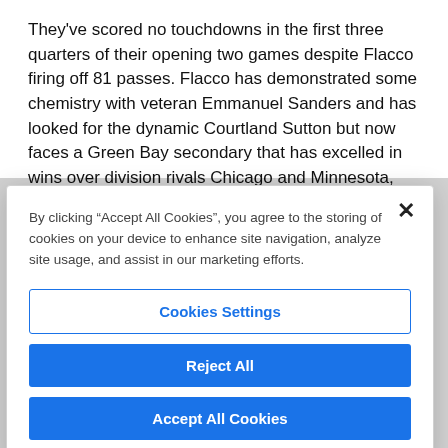They've scored no touchdowns in the first three quarters of their opening two games despite Flacco firing off 81 passes. Flacco has demonstrated some chemistry with veteran Emmanuel Sanders and has looked for the dynamic Courtland Sutton but now faces a Green Bay secondary that has excelled in wins over division rivals Chicago and Minnesota,
By clicking "Accept All Cookies", you agree to the storing of cookies on your device to enhance site navigation, analyze site usage, and assist in our marketing efforts.
Cookies Settings
Reject All
Accept All Cookies